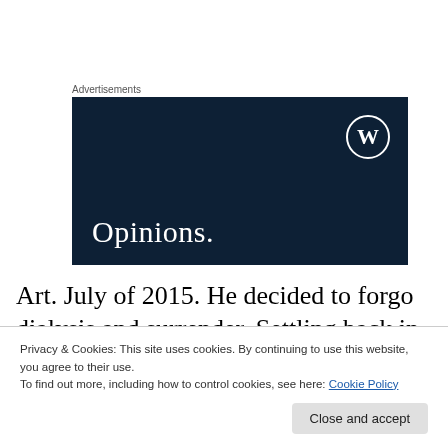Advertisements
[Figure (logo): WordPress.com Opinions advertisement banner — dark navy background with WordPress globe logo in top right and the word 'Opinions.' in large white serif text at bottom left.]
Art. July of 2015. He decided to forgo dialysis and surrender. Settling back in the hospital bed, he said, “Now, help me through the door.” I held his hand, rough, smaller th—
Privacy & Cookies: This site uses cookies. By continuing to use this website, you agree to their use.
To find out more, including how to control cookies, see here: Cookie Policy
Close and accept
You’re a good man, Quon. You’ve been a good husband